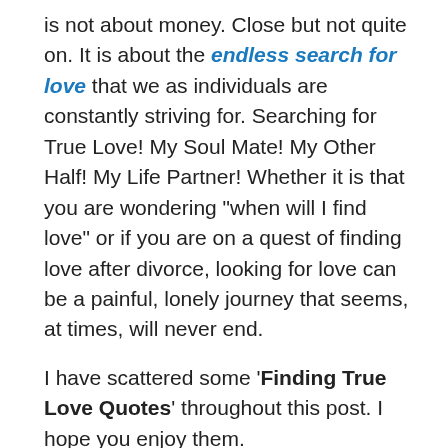is not about money. Close but not quite on. It is about the endless search for love that we as individuals are constantly striving for. Searching for True Love! My Soul Mate! My Other Half! My Life Partner! Whether it is that you are wondering “when will I find love” or if you are on a quest of finding love after divorce, looking for love can be a painful, lonely journey that seems, at times, will never end.
I have scattered some ‘Finding True Love Quotes’ throughout this post. I hope you enjoy them.
“She always thought she needed someone to love when all she really needed to do was love the world and let love find her in its time and in its way.” — Kate McGahan
“We cannot decide to love. We cannot compel anyone to love us. There’s no secret recipe, only love itself. And we